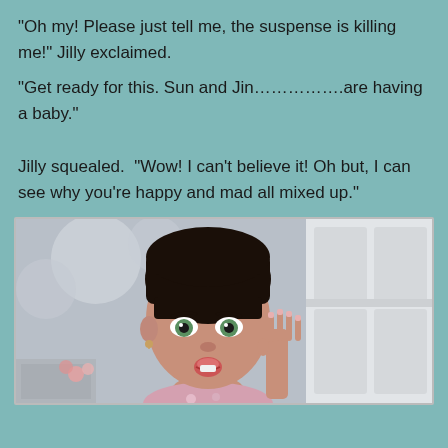“Oh my! Please just tell me, the suspense is killing me!” Jilly exclaimed.
“Get ready for this. Sun and Jin……………are having a baby.”
Jilly squealed.  “Wow! I can’t believe it! Oh but, I can see why you’re happy and mad all mixed up.”
[Figure (illustration): A 3D rendered character of a young woman with short dark hair and bangs, green eyes, wearing a floral outfit, with one hand raised near her face in a surprised expression. Background shows a white door and blurred bokeh lights.]